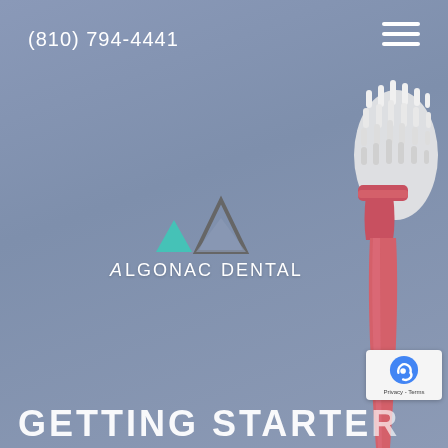(810) 794-4441
[Figure (logo): Algonac Dental logo with geometric triangle shapes in teal and gray, plus text 'Algonac Dental']
[Figure (photo): Pink toothbrush with white bristles on a blue-gray background, positioned on the right side of the page]
GETTING STARTER
[Figure (logo): reCAPTCHA badge with Privacy and Terms links]